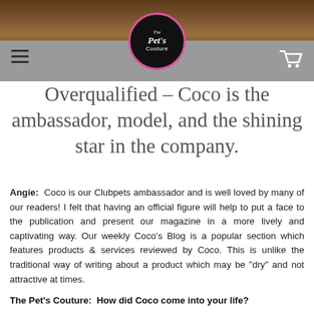[Figure (logo): The Pet's Couture circular logo with pink border on dark background, navigation bar with hamburger menu and shopping cart icon]
Overqualified – Coco is the ambassador, model, and the shining star in the company.
Angie: Coco is our Clubpets ambassador and is well loved by many of our readers! I felt that having an official figure will help to put a face to the publication and present our magazine in a more lively and captivating way. Our weekly Coco's Blog is a popular section which features products & services reviewed by Coco. This is unlike the traditional way of writing about a product which may be "dry" and not attractive at times.
The Pet's Couture: How did Coco come into your life?